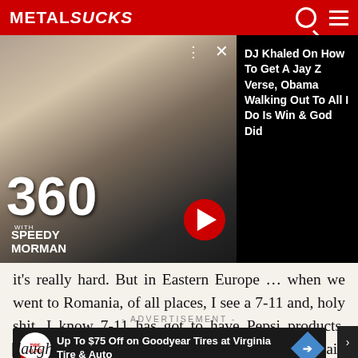METALSUCKS
[Figure (screenshot): Video thumbnail showing two men, one large with beard and sunglasses, one younger. Overlay text '360 WITH SPEEDY MORMAN'. Red play/next arrow button. Three dots and X close icons. Right panel shows recommendation text: DJ Khaled On How To Get A Jay Z Verse, Obama Walking Out To All I Do Is Win & God Did]
it's really hard. But in Eastern Europe ... when we went to Romania, of all places, I see a 7-11 and, holy shit, I know 7-11 has got to have Pepsi products. Sure enough, I go in and there's fuckin' Mountain Dew. And I'm the happiest guy. [laughs]
- ADVERTISEMENT -
[Figure (screenshot): Advertisement banner: Up To $75 Off on Goodyear Tires at Virginia Tire & Auto]
[laugh